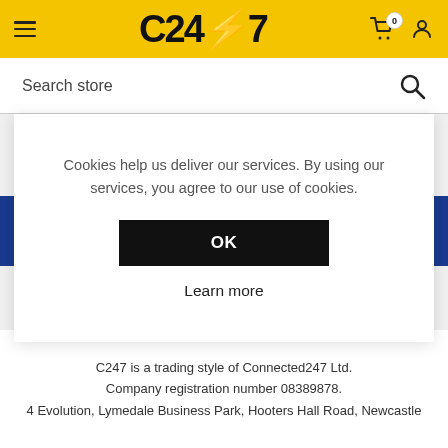C247 — Menu, Cart (0), Account
Search store
Newsletter
Cookies help us deliver our services. By using our services, you agree to our use of cookies.
OK
Learn more
C247 is a trading style of Connected247 Ltd. Company registration number 08389878. 4 Evolution, Lymedale Business Park, Hooters Hall Road, Newcastle